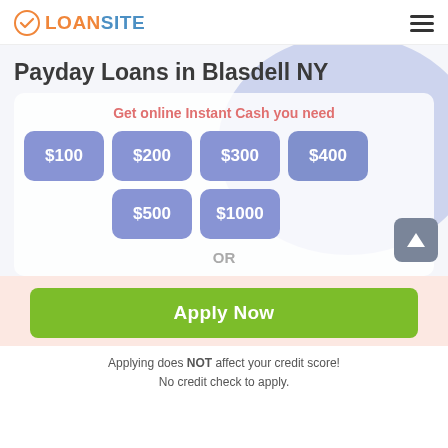LOANSITE
Payday Loans in Blasdell NY
Get online Instant Cash you need
$100
$200
$300
$400
$500
$1000
OR
Apply Now
Applying does NOT affect your credit score!
No credit check to apply.